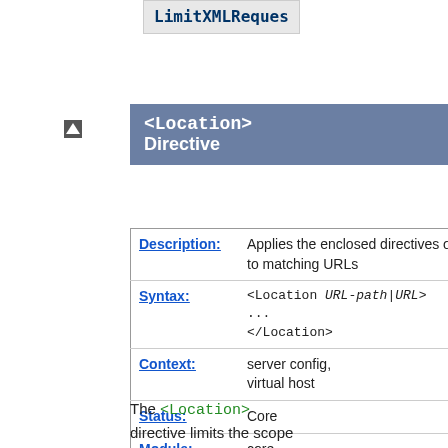LimitXMLReques
<Location> Directive
| Field | Value |
| --- | --- |
| Description: | Applies the enclosed directives only to matching URLs |
| Syntax: | <Location URL-path|URL> ... </Location> |
| Context: | server config, virtual host |
| Status: | Core |
| Module: | core |
The <Location> directive limits the scope of the enclosed directives